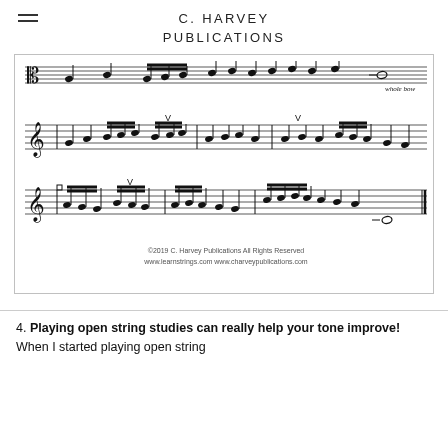C. HARVEY PUBLICATIONS
[Figure (illustration): Sheet music notation showing violin/string exercises with multiple staves, bow markings (whole bow, up-bow chevrons), notes in various rhythms. Copyright 2019 C. Harvey Publications. www.learnstrings.com www.charveypublications.com]
4. Playing open string studies can really help your tone improve! When I started playing open string